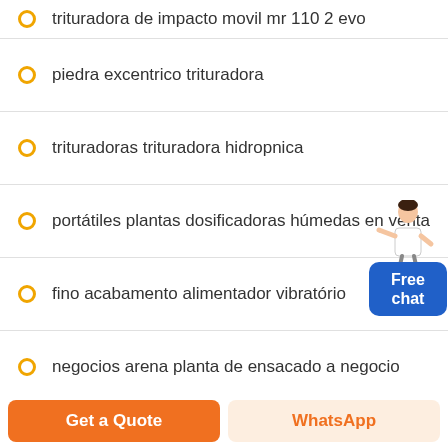trituradora de impacto movil mr 110 2 evo
piedra excentrico trituradora
trituradoras trituradora hidropnica
portátiles plantas dosificadoras húmedas en venta
fino acabamento alimentador vibratório
negocios arena planta de ensacado a negocio
pdf trituradora s cono